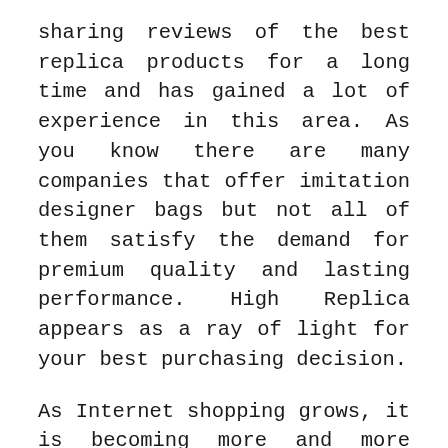sharing reviews of the best replica products for a long time and has gained a lot of experience in this area. As you know there are many companies that offer imitation designer bags but not all of them satisfy the demand for premium quality and lasting performance. High Replica appears as a ray of light for your best purchasing decision.
As Internet shopping grows, it is becoming more and more difficult to verify the origin and quality of designer bags. That makes it imperative for us to limit mistakes as much as possible when buying fake designer bags online. Reviewing the best designer replica bags luxury brands is considered an essential part of buying them on the internet as we have to shell out an expense.